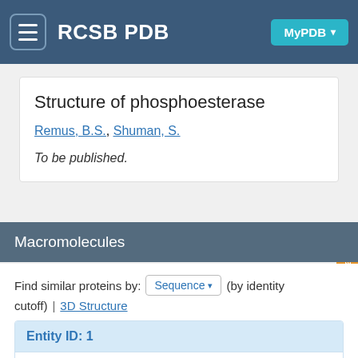RCSB PDB
Structure of phosphoesterase
Remus, B.S., Shuman, S.
To be published.
Macromolecules
Find similar proteins by: Sequence ▼ (by identity cutoff)  |  3D Structure
| Entity ID: 1 |  |  |
| --- | --- | --- |
| Molecule | Chains | S |
| 2'-5'-RNA ligase | A, B | 1 |